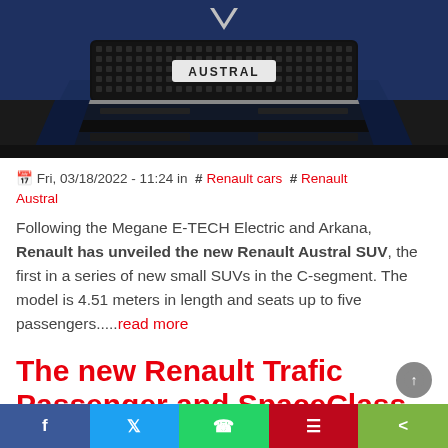[Figure (photo): Front view of a blue Renault Austral SUV showing the grille with AUSTRAL badge, photographed from ground level]
🗓 Fri, 03/18/2022 - 11:24 in # Renault cars # Renault Austral
Following the Megane E-TECH Electric and Arkana, Renault has unveiled the new Renault Austral SUV, the first in a series of new small SUVs in the C-segment. The model is 4.51 meters in length and seats up to five passengers.....read more
The new Renault Trafic Passenger and SpaceClass from
f  𝕏  (WhatsApp icon)  (Pinterest icon)  (Share icon)